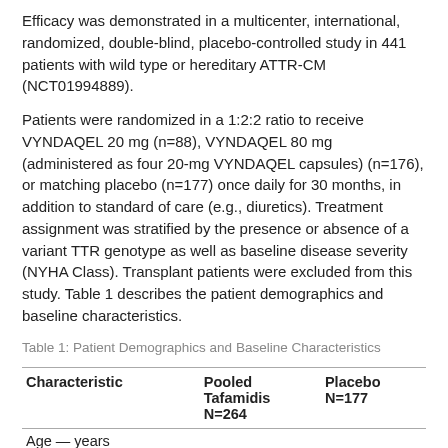Efficacy was demonstrated in a multicenter, international, randomized, double-blind, placebo-controlled study in 441 patients with wild type or hereditary ATTR-CM (NCT01994889).
Patients were randomized in a 1:2:2 ratio to receive VYNDAQEL 20 mg (n=88), VYNDAQEL 80 mg (administered as four 20-mg VYNDAQEL capsules) (n=176), or matching placebo (n=177) once daily for 30 months, in addition to standard of care (e.g., diuretics). Treatment assignment was stratified by the presence or absence of a variant TTR genotype as well as baseline disease severity (NYHA Class). Transplant patients were excluded from this study. Table 1 describes the patient demographics and baseline characteristics.
Table 1: Patient Demographics and Baseline Characteristics
| Characteristic | Pooled Tafamidis N=264 | Placebo N=177 |
| --- | --- | --- |
| Age — years |  |  |
| Mean (standard |  |  |